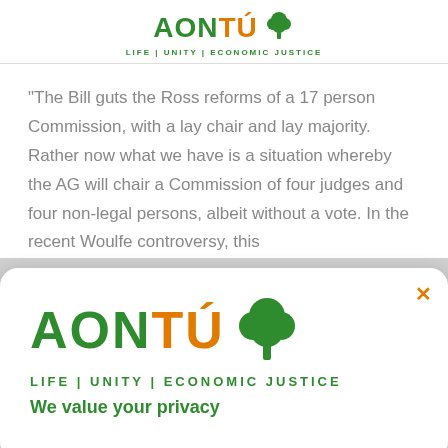[Figure (logo): Aontú party logo with tree icon and tagline LIFE | UNITY | ECONOMIC JUSTICE in green]
“The Bill guts the Ross reforms of a 17 person Commission, with a lay chair and lay majority. Rather now what we have is a situation whereby the AG will chair a Commission of four judges and four non-legal persons, albeit without a vote. In the recent Woulfe controversy, this
[Figure (logo): Aontú party modal popup with large logo, tree icon, tagline LIFE | UNITY | ECONOMIC JUSTICE, close button, and partial text We value your privacy]